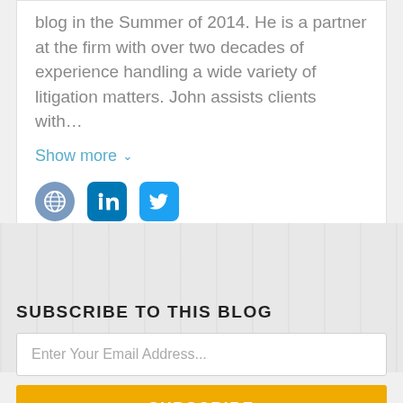blog in the Summer of 2014. He is a partner at the firm with over two decades of experience handling a wide variety of litigation matters. John assists clients with...
Show more ∨
[Figure (other): Social media icons: globe/website icon, LinkedIn icon, Twitter icon]
[Figure (photo): Background image of a building or office interior, faded/light gray]
SUBSCRIBE TO THIS BLOG
Enter Your Email Address...
SUBSCRIBE